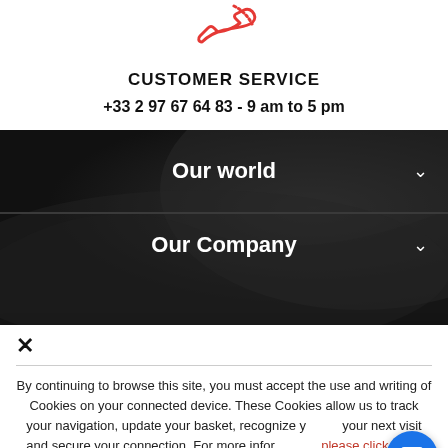[Figure (illustration): Red phone/call icon at top center]
CUSTOMER SERVICE
+33 2 97 67 64 83 - 9 am to 5 pm
Our world
Our Company
By continuing to browse this site, you must accept the use and writing of Cookies on your connected device. These Cookies allow us to track your navigation, update your basket, recognize you on your next visit and secure your connection. For more information, please click here.